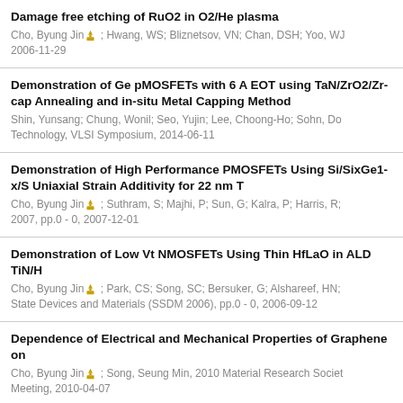Damage free etching of RuO2 in O2/He plasma
Cho, Byung Jin [icon] ; Hwang, WS; Bliznetsov, VN; Chan, DSH; Yoo, WJ
2006-11-29
Demonstration of Ge pMOSFETs with 6 A EOT using TaN/ZrO2/Zr-cap Annealing and in-situ Metal Capping Method
Shin, Yunsang; Chung, Wonil; Seo, Yujin; Lee, Choong-Ho; Sohn, Do...
Technology, VLSI Symposium, 2014-06-11
Demonstration of High Performance PMOSFETs Using Si/SixGe1-x/S Uniaxial Strain Additivity for 22 nm T
Cho, Byung Jin [icon] ; Suthram, S; Majhi, P; Sun, G; Kalra, P; Harris, R;
2007, pp.0 - 0, 2007-12-01
Demonstration of Low Vt NMOSFETs Using Thin HfLaO in ALD TiN/H
Cho, Byung Jin [icon] ; Park, CS; Song, SC; Bersuker, G; Alshareef, HN;
State Devices and Materials (SSDM 2006), pp.0 - 0, 2006-09-12
Dependence of Electrical and Mechanical Properties of Graphene on
Cho, Byung Jin [icon] ; Song, Seung Min, 2010 Material Research Society Meeting, 2010-04-07
Dependence of graphene properties on dielectric under-layers